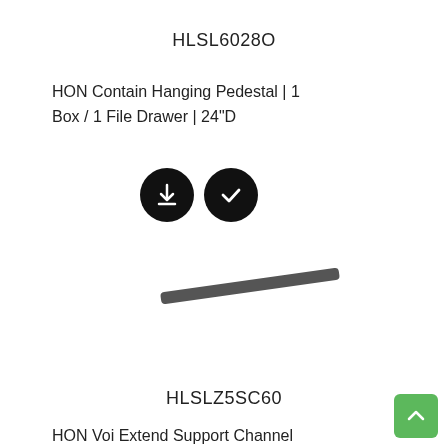HLSL6028O
HON Contain Hanging Pedestal | 1 Box / 1 File Drawer | 24"D
[Figure (illustration): Two black circular icon buttons: a download arrow icon and a checkmark icon]
[Figure (photo): A dark elongated bar or rail component shown at an angle against white background]
HLSLZ5SC60
HON Voi Extend Support Channel